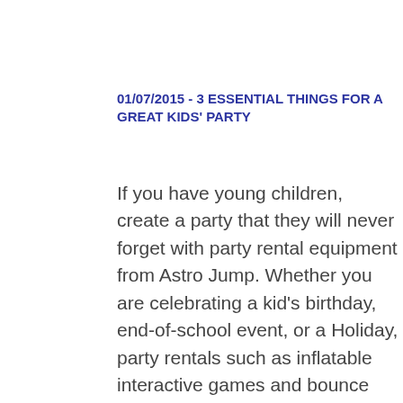01/07/2015 - 3 ESSENTIAL THINGS FOR A GREAT KIDS' PARTY
If you have young children, create a party that they will never forget with party rental equipment from Astro Jump. Whether you are celebrating a kid's birthday, end-of-school event, or a Holiday, party rentals such as inflatable interactive games and bounce houses can really make your event come alive. Here are 3 essential things for a great kids' party. 1. Bounce houses Bounce houses have been around for many years, but they'... read more